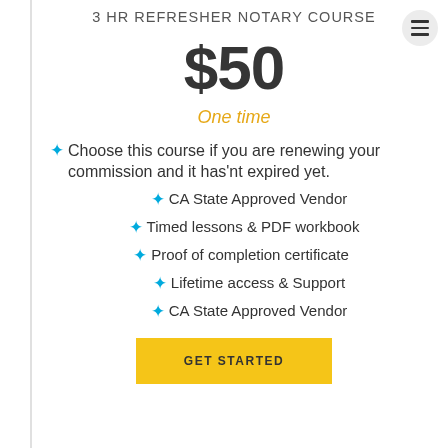3 HR REFRESHER NOTARY COURSE
$50
One time
Choose this course if you are renewing your commission and it has'nt expired yet.
CA State Approved Vendor
Timed lessons & PDF workbook
Proof of completion certificate
Lifetime access & Support
CA State Approved Vendor
GET STARTED